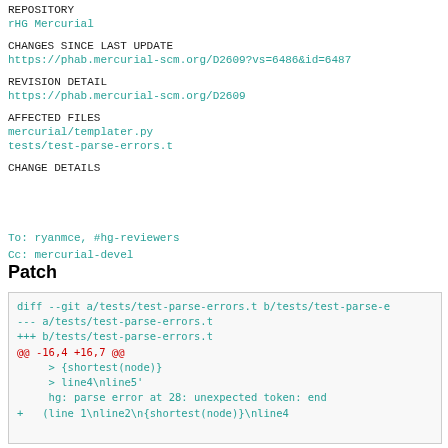REPOSITORY
rHG Mercurial
CHANGES SINCE LAST UPDATE
https://phab.mercurial-scm.org/D2609?vs=6486&id=6487
REVISION DETAIL
https://phab.mercurial-scm.org/D2609
AFFECTED FILES
mercurial/templater.py
tests/test-parse-errors.t
CHANGE DETAILS
To: ryanmce, #hg-reviewers
Cc: mercurial-devel
Patch
[Figure (screenshot): Unified diff patch showing changes to tests/test-parse-errors.t with diff --git header, --- and +++ file lines, @@ -16,4 +16,7 @@ hunk, context lines with > {shortest(node)}, > line4\nline5', hg: parse error at 28: unexpected token: end, and added line + (line 1\nline2\n{shortest(node)}\nline4]